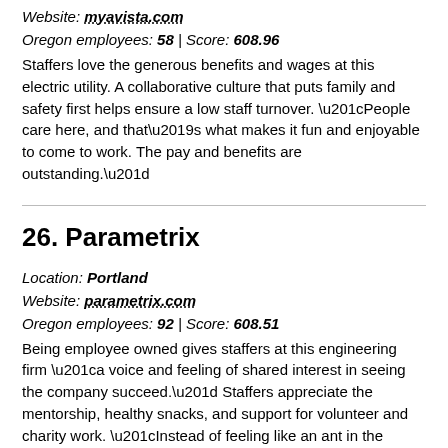Website: myavista.com
Oregon employees: 58 | Score: 608.96
Staffers love the generous benefits and wages at this electric utility. A collaborative culture that puts family and safety first helps ensure a low staff turnover. “People care here, and that’s what makes it fun and enjoyable to come to work. The pay and benefits are outstanding.”
26. Parametrix
Location: Portland
Website: parametrix.com
Oregon employees: 92 | Score: 608.51
Being employee owned gives staffers at this engineering firm “a voice and feeling of shared interest in seeing the company succeed.” Staffers appreciate the mentorship, healthy snacks, and support for volunteer and charity work. “Instead of feeling like an ant in the masses, management really takes the time to get to know you.”
27. Virtual Supply
Location: Beaverton